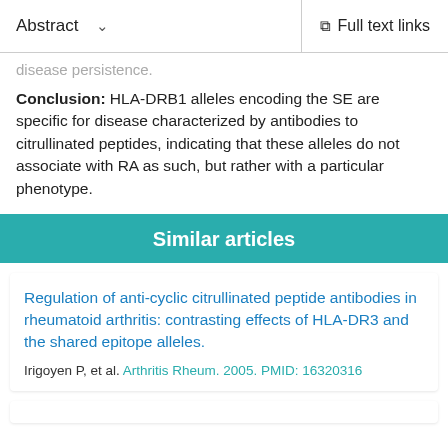Abstract  ∨   Full text links
disease persistence.
Conclusion: HLA-DRB1 alleles encoding the SE are specific for disease characterized by antibodies to citrullinated peptides, indicating that these alleles do not associate with RA as such, but rather with a particular phenotype.
Similar articles
Regulation of anti-cyclic citrullinated peptide antibodies in rheumatoid arthritis: contrasting effects of HLA-DR3 and the shared epitope alleles.
Irigoyen P, et al. Arthritis Rheum. 2005. PMID: 16320316